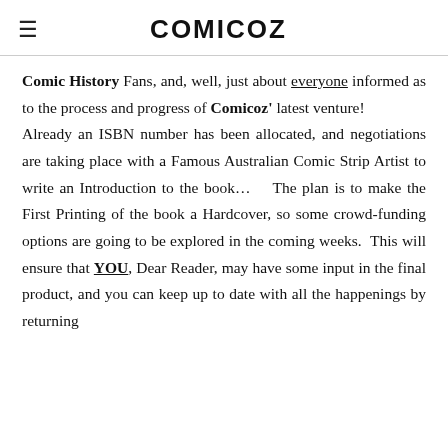COMICOZ
Comic History Fans, and, well, just about everyone informed as to the process and progress of Comicoz' latest venture! Already an ISBN number has been allocated, and negotiations are taking place with a Famous Australian Comic Strip Artist to write an Introduction to the book…   The plan is to make the First Printing of the book a Hardcover, so some crowd-funding options are going to be explored in the coming weeks.  This will ensure that YOU, Dear Reader, may have some input in the final product, and you can keep up to date with all the happenings by returning